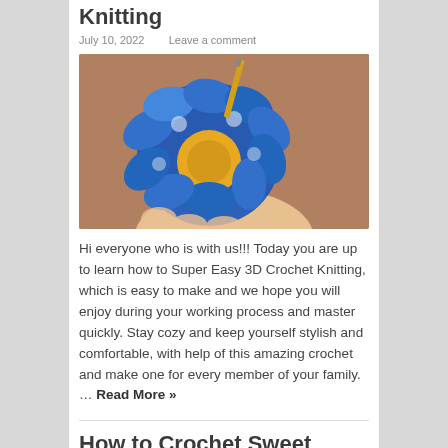Knitting
July 10, 2022   Leave a comment
[Figure (photo): Hands holding a blue and yellow 3D crochet flower being made with a golden crochet hook]
Hi everyone who is with us!!! Today you are up to learn how to Super Easy 3D Crochet Knitting, which is easy to make and we hope you will enjoy during your working process and master quickly. Stay cozy and keep yourself stylish and comfortable, with help of this amazing crochet and make one for every member of your family. … Read More »
How to Crochet Sweet